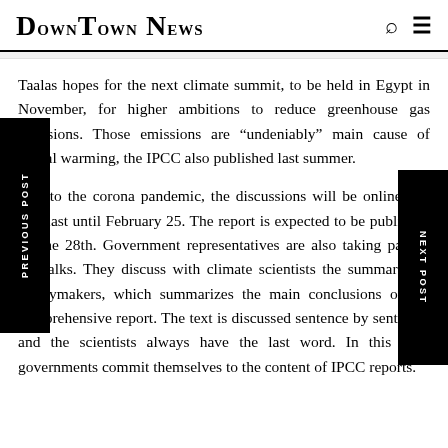DownTown News
Taalas hopes for the next climate summit, to be held in Egypt in November, for higher ambitions to reduce greenhouse gas emissions. Those emissions are "undeniably" main cause of global warming, the IPCC also published last summer.
Due to the corona pandemic, the discussions will be online and will last until February 25. The report is expected to be published on the 28th. Government representatives are also taking part in the talks. They discuss with climate scientists the summary for policymakers, which summarizes the main conclusions of the comprehensive report. The text is discussed sentence by sentence, and the scientists always have the last word. In this way, governments commit themselves to the content of IPCC reports.